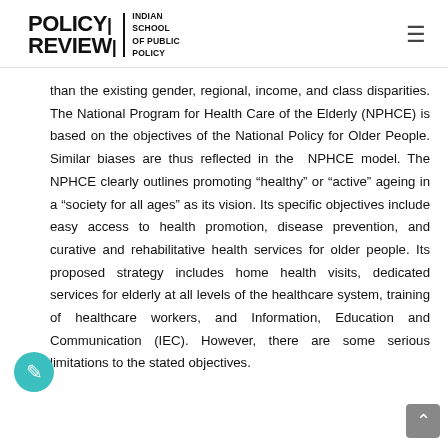POLICY REVIEW | INDIAN SCHOOL OF PUBLIC POLICY
than the existing gender, regional, income, and class disparities. The National Program for Health Care of the Elderly (NPHCE) is based on the objectives of the National Policy for Older People. Similar biases are thus reflected in the NPHCE model. The NPHCE clearly outlines promoting “healthy” or “active” ageing in a “society for all ages” as its vision. Its specific objectives include easy access to health promotion, disease prevention, and curative and rehabilitative health services for older people. Its proposed strategy includes home health visits, dedicated services for elderly at all levels of the healthcare system, training of healthcare workers, and Information, Education and Communication (IEC). However, there are some serious limitations to the stated objectives.